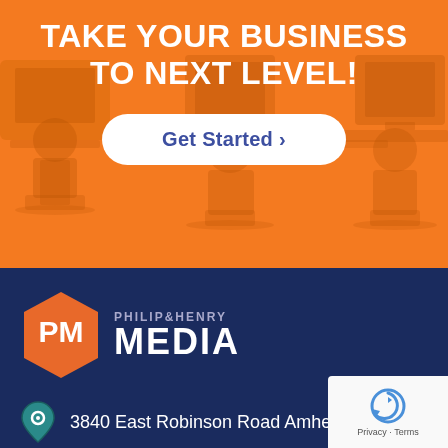TAKE YOUR BUSINESS TO NEXT LEVEL!
[Figure (illustration): Orange background with semi-transparent silhouette illustration of office workers at desks]
Get Started ›
[Figure (logo): Philip & Henry Media hexagon logo with PM monogram in orange, company name in white on dark navy background]
3840 East Robinson Road Amherst, NY 142...
[Figure (other): Google reCAPTCHA badge with circular arrow icon, Privacy and Terms text]